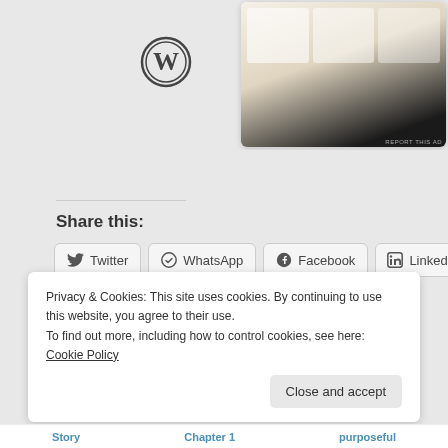[Figure (screenshot): WordPress logo, inbox icon, and food menu card screenshot at top of page]
Share this:
Twitter
WhatsApp
Facebook
LinkedIn
Telegram
Loading...
Privacy & Cookies: This site uses cookies. By continuing to use this website, you agree to their use.
To find out more, including how to control cookies, see here: Cookie Policy
Close and accept
Story   Chapter 1   purposeful